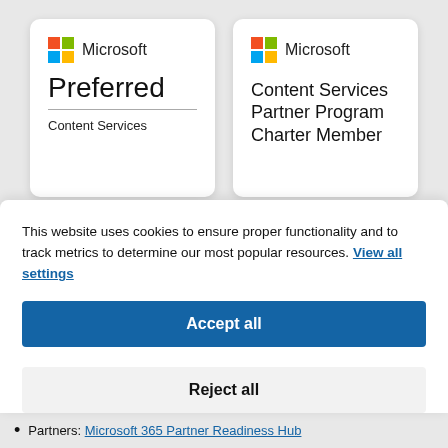[Figure (logo): Microsoft Preferred Content Services badge card]
[Figure (logo): Microsoft Content Services Partner Program Charter Member badge card]
This website uses cookies to ensure proper functionality and to track metrics to determine our most popular resources. View all settings
Accept all
Reject all
Partners: Microsoft 365 Partner Readiness Hub